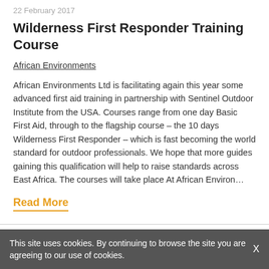22 February 2017
Wilderness First Responder Training Course
African Environments
African Environments Ltd is facilitating again this year some advanced first aid training in partnership with Sentinel Outdoor Institute from the USA. Courses range from one day Basic First Aid, through to the flagship course – the 10 days Wilderness First Responder – which is fast becoming the world standard for outdoor professionals. We hope that more guides gaining this qualification will help to raise standards across East Africa. The courses will take place At African Environ…
Read More
This site uses cookies. By continuing to browse the site you are agreeing to our use of cookies.